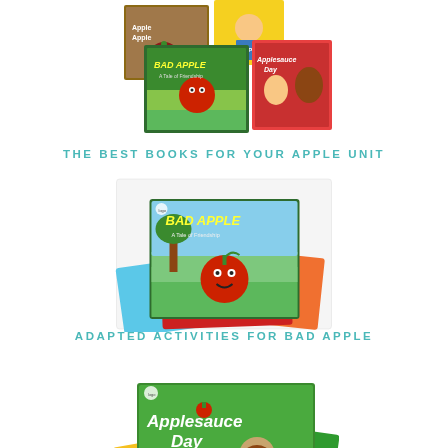[Figure (photo): Collage of apple-themed children's books including Bad Apple and Applesauce Day]
THE BEST BOOKS FOR YOUR APPLE UNIT
[Figure (photo): Bad Apple children's book surrounded by colorful paper sheets (blue, red, orange)]
ADAPTED ACTIVITIES FOR BAD APPLE
[Figure (photo): Applesauce Day children's book surrounded by colorful paper sheets (yellow, red, green)]